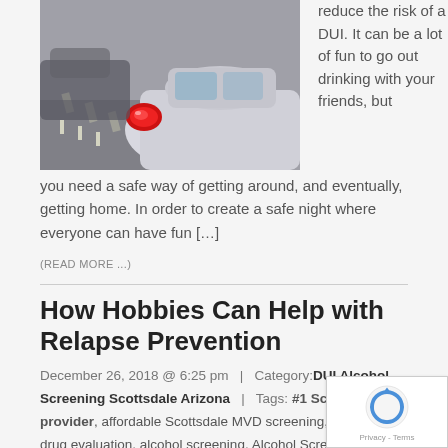[Figure (photo): Photo of a car taillight (red) with traffic/road in the background]
reduce the risk of a DUI. It can be a lot of fun to go out drinking with your friends, but you need a safe way of getting around, and eventually, getting home. In order to create a safe night where everyone can have fun […]
(READ MORE ...)
How Hobbies Can Help with Relapse Prevention
December 26, 2018 @ 6:25 pm  |  Category: DUI Alcohol Screening Scottsdale Arizona  |  Tags: #1 Scottsdale DUI provider, affordable Scottsdale MVD screening, alcohol and drug evaluation, alcohol screening, Alcohol Screening AZ, alcohol screening online, Alcohol Screening Scottsdale, alcohol